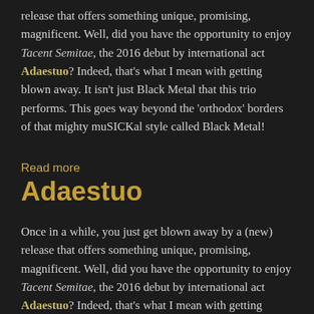release that offers something unique, promising, magnificent. Well, did you have the opportunity to enjoy Tacent Semitae, the 2016 debut by international act Adaestuo? Indeed, that's what I mean with getting blown away. It isn't just Black Metal that this trio performs. This goes way beyond the 'orthodox' borders of that mighty muSICKal style called Black Metal!
Read more
Adaestuo
Once in a while, you just get blown away by a (new) release that offers something unique, promising, magnificent. Well, did you have the opportunity to enjoy Tacent Semitae, the 2016 debut by international act Adaestuo? Indeed, that's what I mean with getting blown away. It isn't just Black